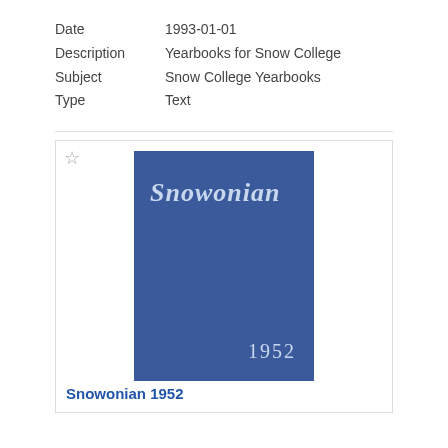| Field | Value |
| --- | --- |
| Date | 1993-01-01 |
| Description | Yearbooks for Snow College |
| Subject | Snow College Yearbooks |
| Type | Text |
[Figure (illustration): Blue book cover of the Snowonian yearbook 1952, with title 'Snowonian' in large italic serif font and '1952' at the bottom right]
Snowonian 1952